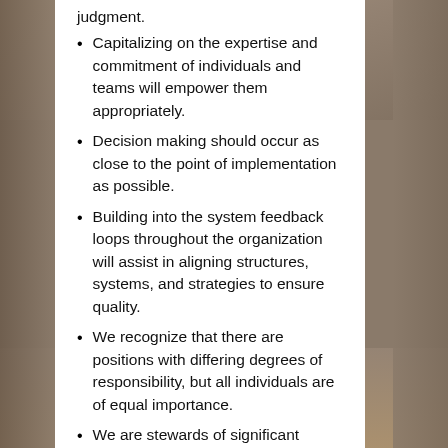judgment.
Capitalizing on the expertise and commitment of individuals and teams will empower them appropriately.
Decision making should occur as close to the point of implementation as possible.
Building into the system feedback loops throughout the organization will assist in aligning structures, systems, and strategies to ensure quality.
We recognize that there are positions with differing degrees of responsibility, but all individuals are of equal importance.
We are stewards of significant human and monetary resources and will manage them in ways that most efficiently and effectively support the mission of our school district.